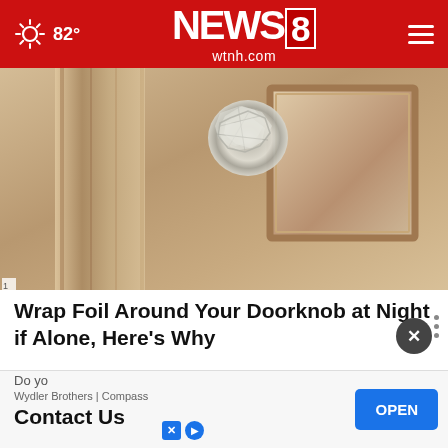82° NEWS8 wtnh.com
[Figure (photo): Close-up photo of a door knob wrapped in aluminum foil on a beige/tan interior door with raised panel detail]
Wrap Foil Around Your Doorknob at Night if Alone, Here's Why
Sogoodly
[Figure (screenshot): Advertisement overlay for Wydler Brothers | Compass showing 'Contact Us' with an OPEN button in blue, plus X and play icons at bottom left. A close button (X) appears above the ad, and three vertical dots appear to the right.]